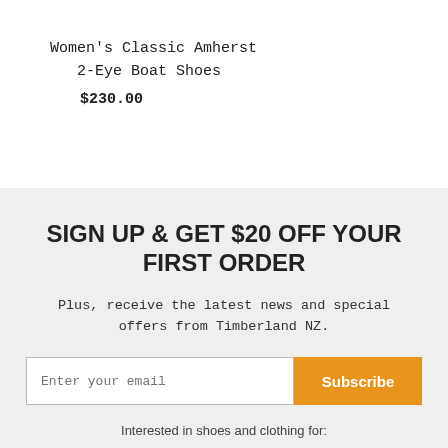Women's Classic Amherst 2-Eye Boat Shoes
$230.00
SIGN UP & GET $20 OFF YOUR FIRST ORDER
Plus, receive the latest news and special offers from Timberland NZ.
Enter your email  Subscribe
Interested in shoes and clothing for: